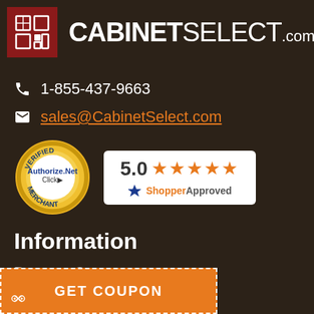[Figure (logo): CabinetSelect.com logo with red box icon and white brand text]
1-855-437-9663
sales@CabinetSelect.com
[Figure (logo): Authorize.Net Verified Merchant seal (gold circular badge with blue text)]
[Figure (infographic): ShopperApproved badge showing 5.0 rating with 5 orange stars]
Information
Resource Center
Popular Kitchen Layouts
[Figure (infographic): GET COUPON button with dashed border and scissors icon]